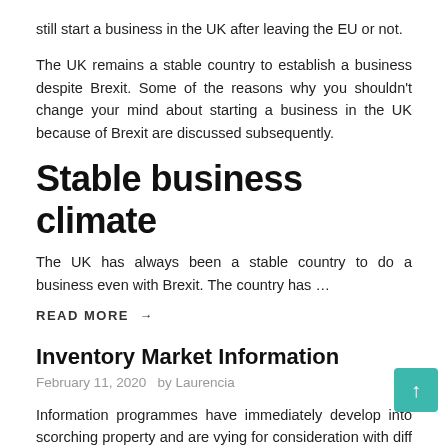still start a business in the UK after leaving the EU or not.
The UK remains a stable country to establish a business despite Brexit. Some of the reasons why you shouldn't change your mind about starting a business in the UK because of Brexit are discussed subsequently.
Stable business climate
The UK has always been a stable country to do a business even with Brexit. The country has …
READ MORE →
Inventory Market Information
February 11, 2020  by Laurencia
Information programmes have immediately develop into scorching property and are vying for consideration with different in style programmes telecast in different channels. On the earth